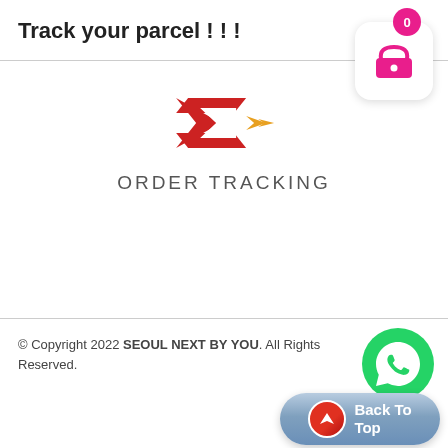Track your parcel ! ! !
[Figure (logo): Red stylized arrow/speed logo mark with gold accent arrows, above text ORDER TRACKING in gray spaced letters]
[Figure (other): Shopping cart icon in a white rounded square with a pink/magenta badge showing 0]
[Figure (other): WhatsApp green circle phone icon]
© Copyright 2022 SEOUL NEXT BY YOU. All Rights Reserved.
[Figure (other): Back To Top button with red arrow circle icon on blue/gray rounded rectangle with reflection]